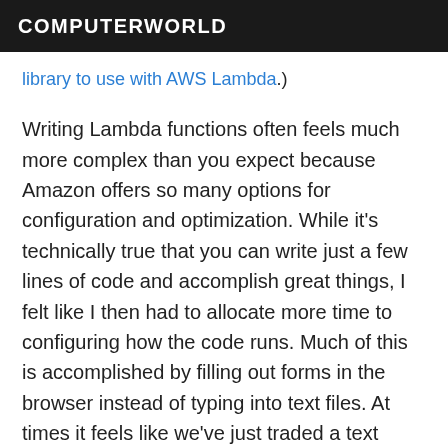COMPUTERWORLD
library to use with AWS Lambda.)
Writing Lambda functions often feels much more complex than you expect because Amazon offers so many options for configuration and optimization. While it's technically true that you can write just a few lines of code and accomplish great things, I felt like I then had to allocate more time to configuring how the code runs. Much of this is accomplished by filling out forms in the browser instead of typing into text files. At times it feels like we've just traded a text editor for a browser form, but that's the price of retaining all of the flexibility that Amazon extends to the Lambda user.